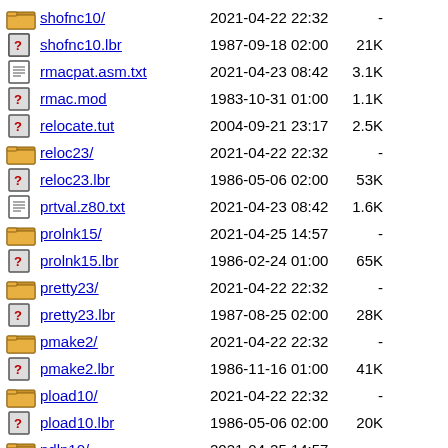shofnc10/  2021-04-22 22:32  -
shofnc10.lbr  1987-09-18 02:00  21K
rmacpat.asm.txt  2021-04-23 08:42  3.1K
rmac.mod  1983-10-31 01:00  1.1K
relocate.tut  2004-09-21 23:17  2.5K
reloc23/  2021-04-22 22:32  -
reloc23.lbr  1986-05-06 02:00  53K
prtval.z80.txt  2021-04-23 08:42  1.6K
prolnk15/  2021-04-25 14:57  -
prolnk15.lbr  1986-02-24 01:00  65K
pretty23/  2021-04-22 22:32  -
pretty23.lbr  1987-08-25 02:00  28K
pmake2/  2021-04-22 22:32  -
pmake2.lbr  1986-11-16 01:00  41K
pload10/  2021-04-22 22:32  -
pload10.lbr  1986-05-06 02:00  20K
pdln10/  2021-04-25 14:57  -